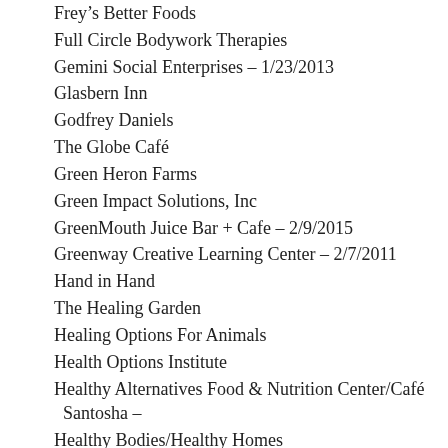Frey's Better Foods
Full Circle Bodywork Therapies
Gemini Social Enterprises – 1/23/2013
Glasbern Inn
Godfrey Daniels
The Globe Café
Green Heron Farms
Green Impact Solutions, Inc
GreenMouth Juice Bar + Cafe – 2/9/2015
Greenway Creative Learning Center – 2/7/2011
Hand in Hand
The Healing Garden
Healing Options For Animals
Health Options Institute
Healthy Alternatives Food & Nutrition Center/Café Santosha –
Healthy Bodies/Healthy Homes
Heat Shed, Inc.
Hunter Hill Farm CSA – 2/19/14